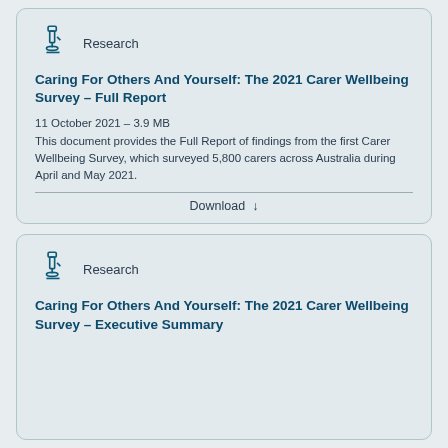[Figure (illustration): Research icon (microscope) with label 'Research']
Caring For Others And Yourself: The 2021 Carer Wellbeing Survey – Full Report
11 October 2021 – 3.9 MB
This document provides the Full Report of findings from the first Carer Wellbeing Survey, which surveyed 5,800 carers across Australia during April and May 2021.
Download
[Figure (illustration): Research icon (microscope) with label 'Research']
Caring For Others And Yourself: The 2021 Carer Wellbeing Survey – Executive Summary